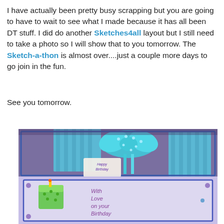I have actually been pretty busy scrapping but you are going to have to wait to see what I made because it has all been DT stuff. I did do another Sketches4all layout but I still need to take a photo so I will show that to you tomorrow. The Sketch-a-thon is almost over....just a couple more days to go join in the fun.

See you tomorrow.
[Figure (photo): A close-up photo of a handmade birthday card with blue decorative elements including a striped gift box, teal ribbon and bow with rhinestones, a 'Happy Birthday' tag, and a card section reading 'With Love on your Birthday' with a birthday cake illustration, all on a purple background.]